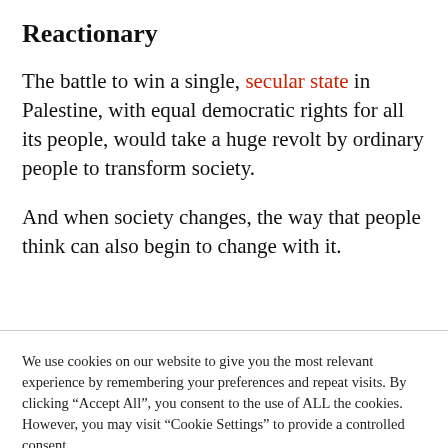Reactionary
The battle to win a single, secular state in Palestine, with equal democratic rights for all its people, would take a huge revolt by ordinary people to transform society.
And when society changes, the way that people think can also begin to change with it.
We use cookies on our website to give you the most relevant experience by remembering your preferences and repeat visits. By clicking "Accept All", you consent to the use of ALL the cookies. However, you may visit "Cookie Settings" to provide a controlled consent.